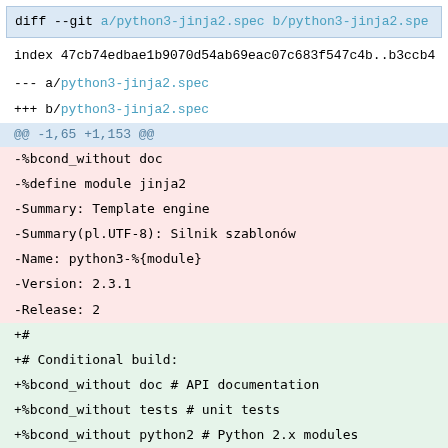diff --git a/python3-jinja2.spec b/python3-jinja2.spec
index 47cb74edbae1b9070d54ab69eac07c683f547c4b..b3ccb4
--- a/python3-jinja2.spec
+++ b/python3-jinja2.spec
@@ -1,65 +1,153 @@
-%bcond_without doc
-%define module jinja2
-Summary:        Template engine
-Summary(pl.UTF-8):    Silnik szablonów
-Name:           python3-%{module}
-Version:        2.3.1
-Release:        2
+#
+# Conditional build:
+%bcond_without doc      # API documentation
+%bcond_without tests    # unit tests
+%bcond_without python2 # Python 2.x modules
+%bcond_without python3 # Python 3.x modules
+
+%define                   module  jinja2